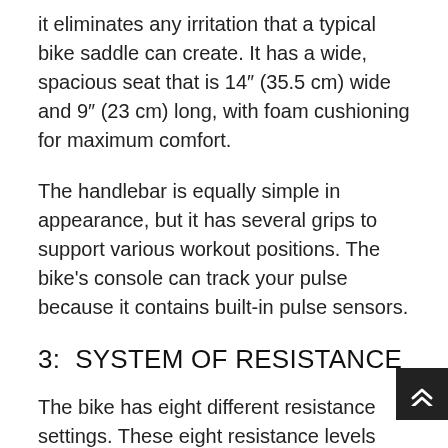it eliminates any irritation that a typical bike saddle can create. It has a wide, spacious seat that is 14″ (35.5 cm) wide and 9″ (23 cm) long, with foam cushioning for maximum comfort.
The handlebar is equally simple in appearance, but it has several grips to support various workout positions. The bike's console can track your pulse because it contains built-in pulse sensors.
3:  SYSTEM OF RESISTANCE
The bike has eight different resistance settings. These eight resistance levels are now highly dependent on the tension wire's